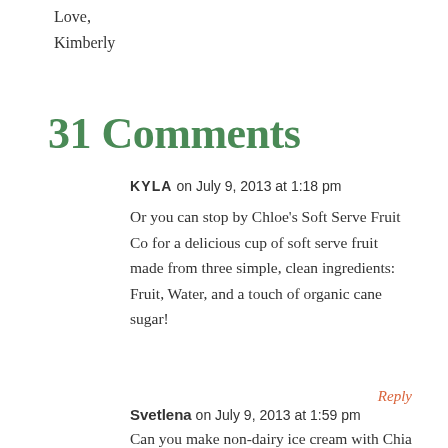Love,
Kimberly
31 Comments
KYLA on July 9, 2013 at 1:18 pm
Or you can stop by Chloe's Soft Serve Fruit Co for a delicious cup of soft serve fruit made from three simple, clean ingredients: Fruit, Water, and a touch of organic cane sugar!
Reply
Svetlena on July 9, 2013 at 1:59 pm
Can you make non-dairy ice cream with Chia